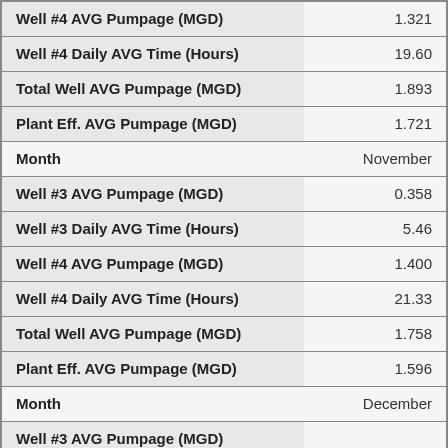| Metric | Value |
| --- | --- |
| Well #4 AVG Pumpage (MGD) | 1.321 |
| Well #4 Daily AVG Time (Hours) | 19.60 |
| Total Well AVG Pumpage (MGD) | 1.893 |
| Plant Eff. AVG Pumpage (MGD) | 1.721 |
| Month | November |
| Well #3 AVG Pumpage (MGD) | 0.358 |
| Well #3 Daily AVG Time (Hours) | 5.46 |
| Well #4 AVG Pumpage (MGD) | 1.400 |
| Well #4 Daily AVG Time (Hours) | 21.33 |
| Total Well AVG Pumpage (MGD) | 1.758 |
| Plant Eff. AVG Pumpage (MGD) | 1.596 |
| Month | December |
| Well #3 AVG Pumpage (MGD) |  |